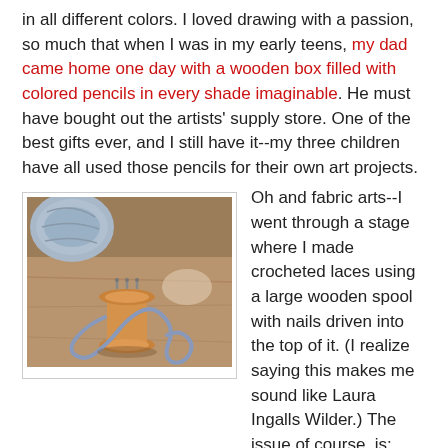in all different colors. I loved drawing with a passion, so much that when I was in my early teens, my dad came home one day with a wooden box filled with colored pencils in every shade imaginable. He must have bought out the artists' supply store. One of the best gifts ever, and I still have it--my three children have all used those pencils for their own art projects.
[Figure (photo): A wooden spool with crocheted lace/cord on a wooden surface, with a ball of yarn visible in the upper left]
Oh and fabric arts--I went through a stage where I made crocheted laces using a large wooden spool with nails driven into the top of it. (I realize saying this makes me sound like Laura Ingalls Wilder.) The issue of course, is: what do you do with crocheted laces made from string after you've given all your friends bracelets? I never figured that out.
ROSEMARY HARRIS: Had the Etch a Sketch but I confess I didn't see the point of it - after all, you worked so hard and then IT DISAPPEARED! Made potholders (like Hank) but my faves were the EasyBake Oven - even then I was a baker - sketching with
[Figure (photo): Partial photo visible at bottom right, appears to be another crafting or baking related image]